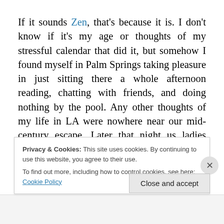If it sounds Zen, that's because it is. I don't know if it's my age or thoughts of my stressful calendar that did it, but somehow I found myself in Palm Springs taking pleasure in just sitting there a whole afternoon reading, chatting with friends, and doing nothing by the pool. Any other thoughts of my life in LA were nowhere near our mid-century escape. Later that night us ladies were so satisfied with our accommodations that we ordered take-out and
Privacy & Cookies: This site uses cookies. By continuing to use this website, you agree to their use.
To find out more, including how to control cookies, see here: Cookie Policy
Close and accept